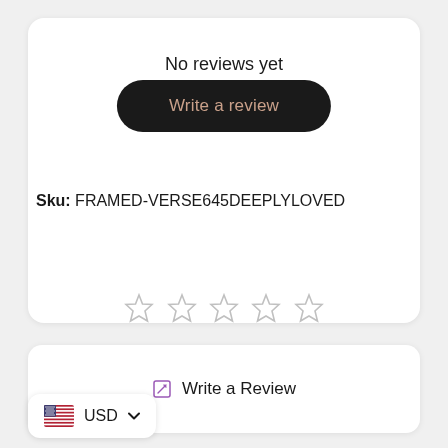No reviews yet
[Figure (screenshot): Black 'Write a review' button with rounded pill shape]
Sku: FRAMED-VERSE645DEEPLYLOVED
[Figure (other): Five empty star rating icons]
Write a Review
USD